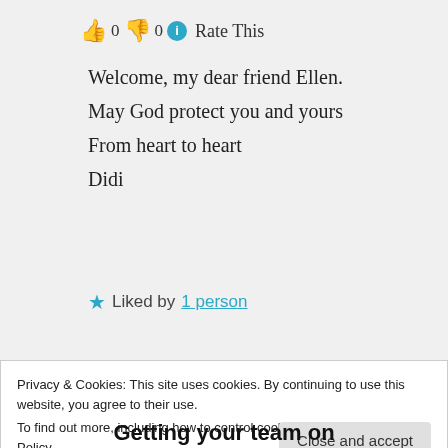👍 0 👎 0 ℹ Rate This
Welcome, my dear friend Ellen.
May God protect you and yours
From heart to heart
Didi
★ Liked by 1 person
Log in to Reply
Privacy & Cookies: This site uses cookies. By continuing to use this website, you agree to their use.
To find out more, including how to control cookies, see here: Cookie Policy
Close and accept
Getting your team on